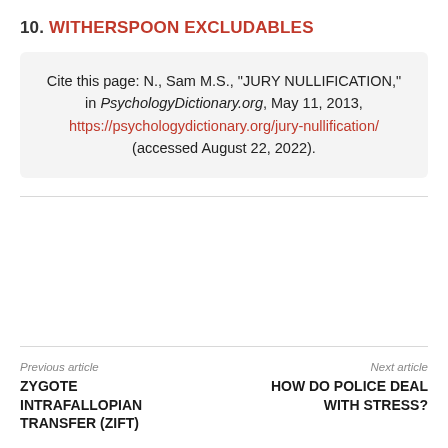10. WITHERSPOON EXCLUDABLES
Cite this page: N., Sam M.S., "JURY NULLIFICATION," in PsychologyDictionary.org, May 11, 2013, https://psychologydictionary.org/jury-nullification/ (accessed August 22, 2022).
Previous article
ZYGOTE INTRAFALLOPIAN TRANSFER (ZIFT)
Next article
HOW DO POLICE DEAL WITH STRESS?